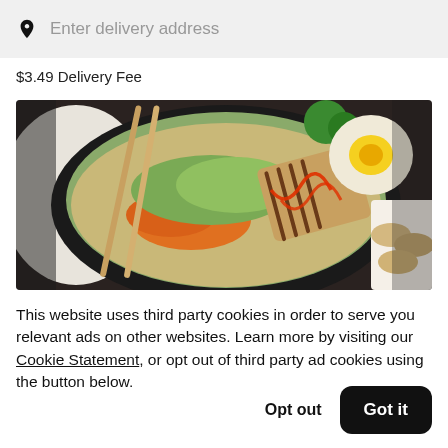Enter delivery address
$3.49 Delivery Fee
[Figure (photo): Photo of a ramen or Asian noodle bowl with chopsticks, grilled chicken, shredded carrots, greens, a halved soft-boiled egg, and sriracha drizzle, alongside dumplings on a white plate, served in a black bowl on a dark surface.]
This website uses third party cookies in order to serve you relevant ads on other websites. Learn more by visiting our Cookie Statement, or opt out of third party ad cookies using the button below.
Opt out
Got it